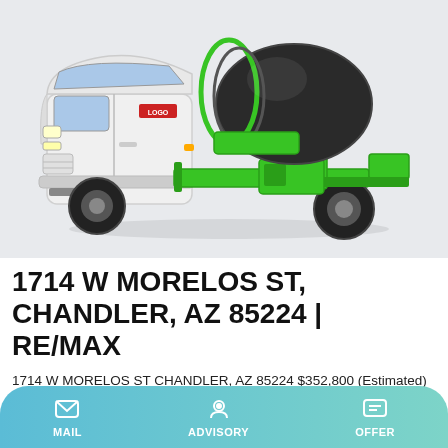[Figure (photo): Green and white concrete mixer truck with dark drum on a light grey background]
1714 W MORELOS ST, CHANDLER, AZ 85224 | RE/MAX
1714 W MORELOS ST CHANDLER, AZ 85224 $352,800 (Estimated) Request Info or Showing. Share. Facebook Twitter Email Print — Bedrooms — Total Baths — Full Baths 1,779 Square Feet 0.15 Acres 1997 Concrete Tile Stories 1
MAIL   ADVISORY   OFFER